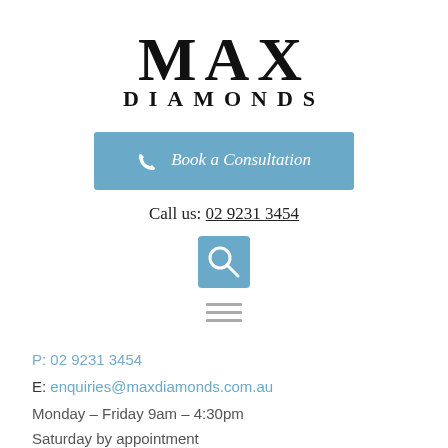MAX DIAMONDS
[Figure (other): Blue button with phone icon and text 'Book a Consultation']
Call us: 02 9231 3454
[Figure (other): Blue search icon button (magnifying glass)]
[Figure (other): Hamburger menu icon (three horizontal lines)]
P: 02 9231 3454
E: enquiries@maxdiamonds.com.au
Monday – Friday 9am – 4:30pm
Saturday by appointment